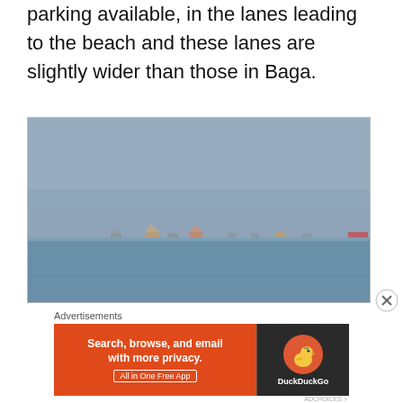parking available, in the lanes leading to the beach and these lanes are slightly wider than those in Baga.
[Figure (photo): A seascape photograph showing a hazy grey sky and blue-grey ocean water with several small boats or fishing vessels visible on the horizon line.]
Advertisements
[Figure (screenshot): DuckDuckGo advertisement banner: orange left panel with text 'Search, browse, and email with more privacy. All in One Free App' and dark right panel with DuckDuckGo duck logo and brand name.]